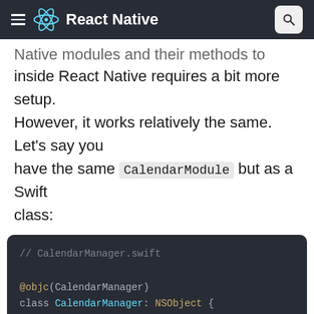React Native
Native modules and their methods to JavaScript inside React Native requires a bit more setup. However, it works relatively the same. Let's say you have the same CalendarModule but as a Swift class:
[Figure (screenshot): Code block showing Swift CalendarManager class with @objc annotations and addEvent function]